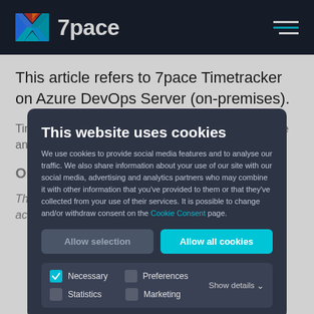7pace
This article refers to 7pace Timetracker on Azure DevOps Server (on-premises).
Timetracker can be activated with two methods - online and
Online Activation
The online activation is the recommended way to activate Timetracker as it comes with these benefits:
[Figure (screenshot): Cookie consent modal dialog over a 7pace Timetracker documentation page. The modal has a dark background and contains the title 'This website uses cookies', a description about cookie usage, two buttons ('Allow selection' and 'Allow all cookies'), and four checkbox options: Necessary (checked), Preferences, Statistics, Marketing, with a 'Show details' link.]